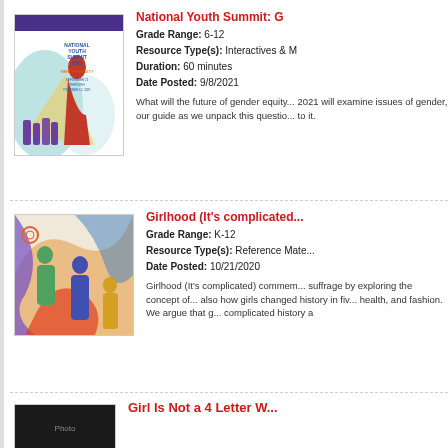[Figure (illustration): National Youth Summit 2021 Gender Equity poster thumbnail with figure in red cloak and crowd silhouettes]
National Youth Summit: G...
Grade Range: 6-12
Resource Type(s): Interactives & M...
Duration: 60 minutes
Date Posted: 9/8/2021
What will the future of gender equity... 2021 will examine issues of gender, our guide as we unpack this questio... to it.
[Figure (illustration): Girlhood (It's complicated) colorful illustrated thumbnail with diverse figures]
Girlhood (It's complicated...
Grade Range: K-12
Resource Type(s): Reference Mate...
Date Posted: 10/21/2020
Girlhood (It's complicated) commem... suffrage by exploring the concept of... also how girls changed history in fiv... health, and fashion. We argue that g... complicated history a
[Figure (photo): Girl Is Not a 4 Letter W... dark thumbnail]
Girl Is Not a 4 Letter W...